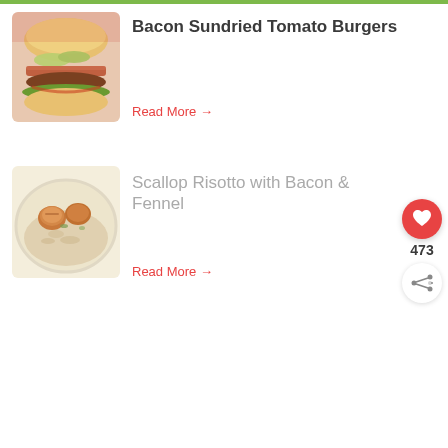[Figure (photo): Photo of a bacon sundried tomato burger on a bun with pickles, lettuce, and sauce]
Bacon Sundried Tomato Burgers
Read More →
[Figure (photo): Photo of scallop risotto with bacon on a white plate]
Scallop Risotto with Bacon & Fennel
Read More →
[Figure (infographic): Floating sidebar with heart/like button showing 473 likes and a share button]
[Figure (photo): What's Next thumbnail showing Potato Crusted... recipe]
WHAT'S NEXT → Potato Crusted...
[Figure (infographic): Advertisement banner: cookies for kids cancer - turn your COOKIES into a CURE LEARN HOW]